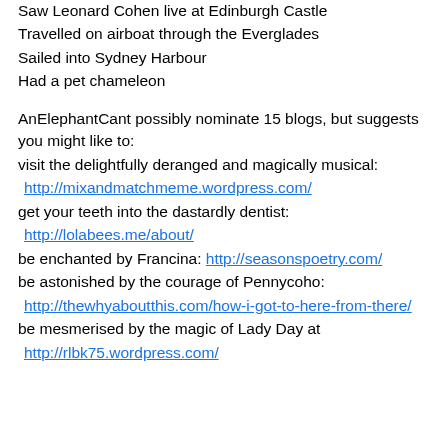Saw Leonard Cohen live at Edinburgh Castle
Travelled on airboat through the Everglades
Sailed into Sydney Harbour
Had a pet chameleon
AnElephantCant possibly nominate 15 blogs, but suggests you might like to:
visit the delightfully deranged and magically musical:
http://mixandmatchmeme.wordpress.com/
get your teeth into the dastardly dentist:
http://lolabees.me/about/
be enchanted by Francina: http://seasonspoetry.com/
be astonished by the courage of Pennycoho:
http://thewhyaboutthis.com/how-i-got-to-here-from-there/
be mesmerised by the magic of Lady Day at
http://rlbk75.wordpress.com/